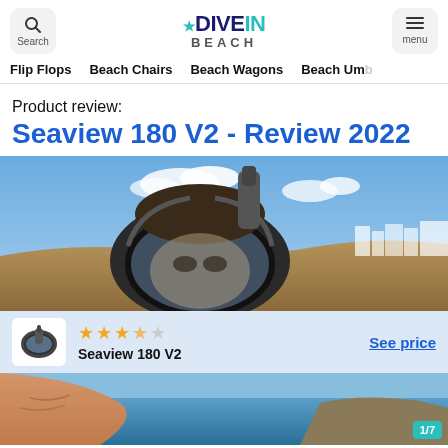DIVE IN BEACH — Search | Menu
Flip Flops  Beach Chairs  Beach Wagons  Beach Umb
Product review:
Seaview 180 V2 - Review 2022
[Figure (photo): Person wearing a full-face snorkel mask (Seaview 180 V2) outdoors with blue sky and coastal buildings in background]
[Figure (infographic): Sticky bar showing product thumbnail of Seaview 180 V2 snorkel mask, 3.5 star rating in orange, product name 'Seaview 180 V2', and 'See price' link]
[Figure (photo): Bottom portion of a beach/ocean scene with a person visible, cropped. Teal badge showing '1/7' in bottom right corner.]